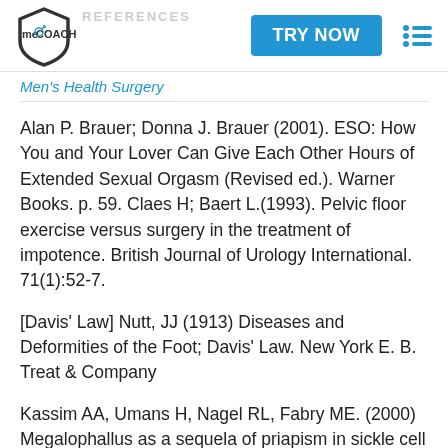REFERENCES | TRY NOW
Men's Health Surgery
Alan P. Brauer; Donna J. Brauer (2001). ESO: How You and Your Lover Can Give Each Other Hours of Extended Sexual Orgasm (Revised ed.). Warner Books. p. 59. Claes H; Baert L.(1993). Pelvic floor exercise versus surgery in the treatment of impotence. British Journal of Urology International. 71(1):52-7.
[Davis' Law] Nutt, JJ (1913) Diseases and Deformities of the Foot; Davis' Law. New York E. B. Treat & Company
Kassim AA, Umans H, Nagel RL, Fabry ME. (2000) Megalophallus as a sequela of priapism in sickle cell anemia; use of blood oxygen level-dependent